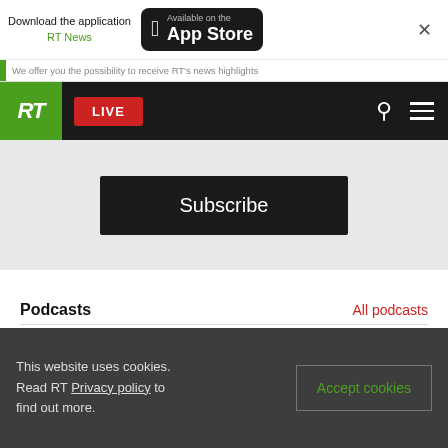Download the application RT News — Available on the App Store
We offer you the possibility to receive RT's news highlights
[Figure (screenshot): RT news website navigation bar with logo, LIVE button, search icon and hamburger menu]
Subscribe
Podcasts
All podcasts
[Figure (photo): Podcast thumbnail with RT Talk branding in blue/dark tones]
Crosstalk, HOME EDITION: Tide is turning
This website uses cookies. Read RT Privacy policy to find out more.
Accept cookies